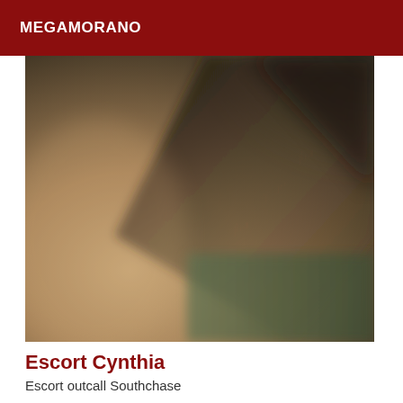MEGAMORANO
[Figure (photo): Close-up blurry photo with warm tan and dark brown tones, showing curved shapes and shadows]
Escort Cynthia
Escort outcall Southchase